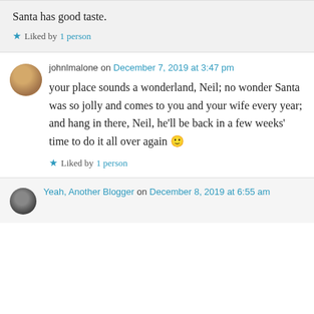Santa has good taste.
★ Liked by 1 person
johnlmalone on December 7, 2019 at 3:47 pm
your place sounds a wonderland, Neil; no wonder Santa was so jolly and comes to you and your wife every year; and hang in there, Neil, he'll be back in a few weeks' time to do it all over again 🙂
★ Liked by 1 person
Yeah, Another Blogger on December 8, 2019 at 6:55 am